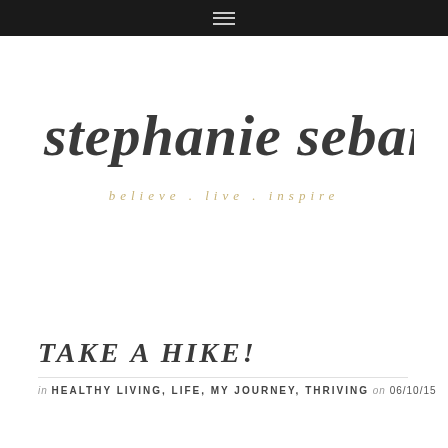≡ (navigation menu icon)
[Figure (logo): stephanie seban blog logo — cursive script 'stephanie seban' in dark gray, with tagline 'believe . live . inspire' in gold/tan italic text below]
TAKE A HIKE!
in HEALTHY LIVING, LIFE, MY JOURNEY, THRIVING on 06/10/15